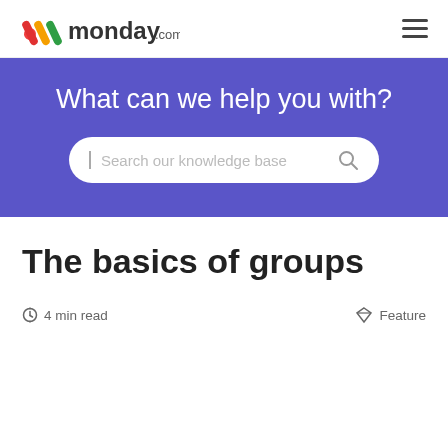monday.com — navigation header with logo and hamburger menu
What can we help you with?
Search our knowledge base
The basics of groups
4 min read
Feature